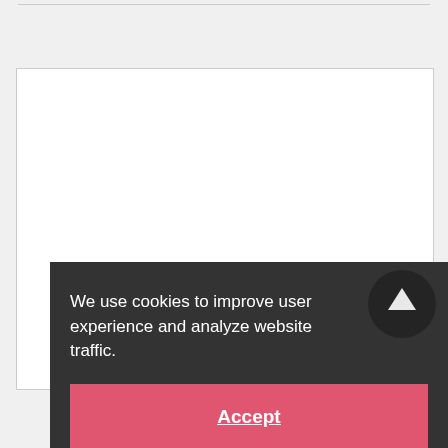[Figure (screenshot): Cookie consent banner overlay on a webpage. Dark gray background with white text reading 'We use cookies to improve user experience and analyze website traffic.' and a pink Accept button. A dark circular scroll-to-top arrow button is visible in the upper right corner of the banner.]